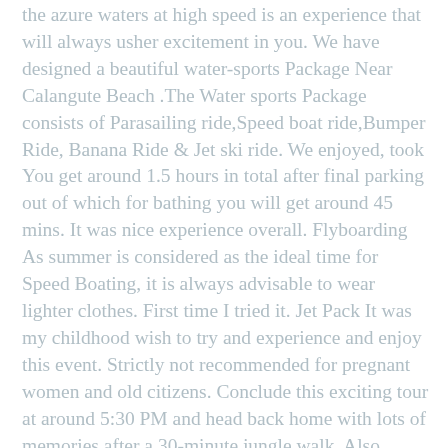the azure waters at high speed is an experience that will always usher excitement in you. We have designed a beautiful water-sports Package Near Calangute Beach .The Water sports Package consists of Parasailing ride,Speed boat ride,Bumper Ride, Banana Ride & Jet ski ride. We enjoyed, took You get around 1.5 hours in total after final parking out of which for bathing you will get around 45 mins. It was nice experience overall. Flyboarding As summer is considered as the ideal time for Speed Boating, it is always advisable to wear lighter clothes. First time I tried it. Jet Pack It was my childhood wish to try and experience and enjoy this event. Strictly not recommended for pregnant women and old citizens. Conclude this exciting tour at around 5:30 PM and head back home with lots of memories after a 30-minute jungle walk. Also Check: Best Water Sports Tours in Panaji. *Note: The activity package is allowed for 12+ Yr age group only. Water sports charges in Goa also vary according to the peak tourist season in Goa. Early mornings during the summer are best suited for Kite Surfing as the wind is not too gusty and strong. In winch-parasailing, you have to take off and land on the winch boat. The narrow gorges with numerous drops, while surrounded by sculpted walls and spectacular waterfalls form an aesthetic backdrop for canyoning. endorsement of the artist shall be implied. half day rafting trip in India. Experience a strange sense of calmness while basking in the tranquility of the region. The activity is sure to give you an adrenaline rush and will become one of the most